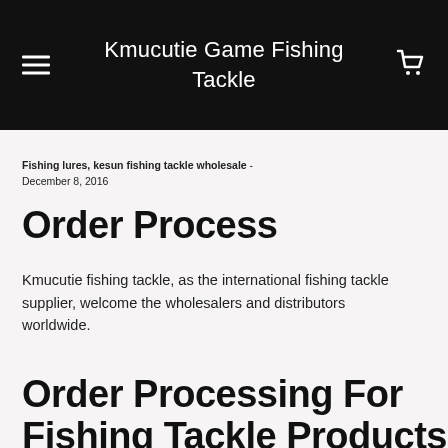Kmucutie Game Fishing Tackle
Fishing lures, kesun fishing tackle wholesale - December 8, 2016
Order Process
Kmucutie fishing tackle, as the international fishing tackle supplier, welcome the wholesalers and distributors worldwide.
Order Processing For Fishing Tackle Products